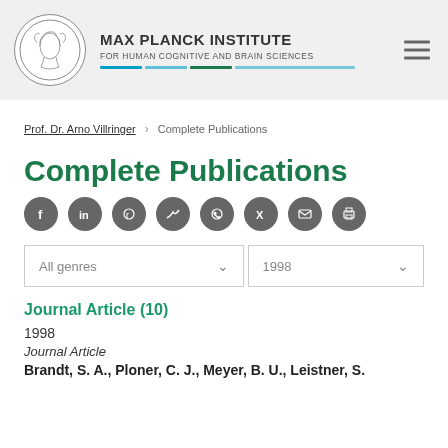MAX PLANCK INSTITUTE FOR HUMAN COGNITIVE AND BRAIN SCIENCES
Prof. Dr. Arno Villringer > Complete Publications
Complete Publications
All genres [dropdown] 1998 [dropdown]
Journal Article (10)
1998
Journal Article
Brandt, S. A., Ploner, C. J., Meyer, B. U., Leistner, S.